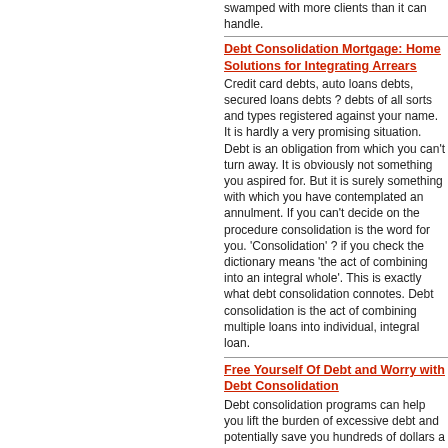swamped with more clients than it can handle.
Debt Consolidation Mortgage: Home Solutions for Integrating Arrears
Credit card debts, auto loans debts, secured loans debts, unsecured loans debts ? debts of all sorts and types registered against your name. It is hardly a very promising situation. Debt is an obligation from which you can't turn away. It is obviously not something you aspired for. But it is surely something with which you have contemplated an annulment. If you can't decide on the procedure consolidation is the word for you. 'Consolidation' ? if you check the dictionary means 'the act of combining into an integral whole'. This is exactly what debt consolidation connotes. Debt consolidation is the act of combining multiple loans into individual, integral loan.
Free Yourself Of Debt and Worry with Debt Consolidation
Debt consolidation programs can help you lift the burden of excessive debt and potentially save you hundreds of dollars a month. Debt consolidation professionals will work with you and your creditors to design a plan to help you lower your payments and reduce your debts quickly. You can become debt free sooner than you imagined and begin living a new, better life. Debt consolidation plans can be customized to fit your individual needs and getting started is easy.
Bad Credit Debt Consolidation Loan
Nowadays, many people can get into a bad credit situation if they do not keep track of their income and expenditure. Many young executives suddenly find that they are being offered credit